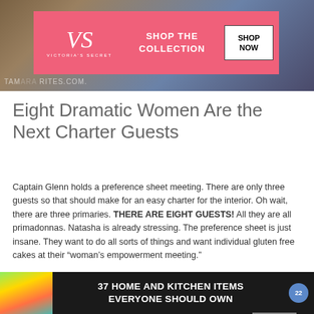[Figure (photo): Top banner with dark background showing people, overlaid with a Victoria's Secret advertisement banner in pink with logo, 'SHOP THE COLLECTION' text, and 'SHOP NOW' button. Watermark reads 'TAMARA RITES.COM']
Eight Dramatic Women Are the Next Charter Guests
Captain Glenn holds a preference sheet meeting. There are only three guests so that should make for an easy charter for the interior. Oh wait, there are three primaries. THERE ARE EIGHT GUESTS! All they are all primadonnas. Natasha is already stressing. The preference sheet is just insane. They want to do all sorts of things and want individual gluten free cakes at their “woman’s empowerment meeting.”
[Figure (screenshot): Light gray advertisement placeholder area with 'CLOSE' button]
[Figure (photo): Bottom advertisement banner with dark background, colorful food storage bags image on left, text '37 HOME AND KITCHEN ITEMS EVERYONE SHOULD OWN' in white, and blue circular badge with '22']